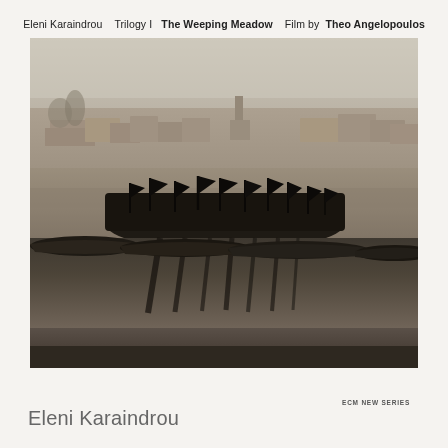Eleni Karaindrou   Trilogy I   The Weeping Meadow   Film by Theo Angelopoulos
[Figure (photo): Black and white sepia-toned photograph showing a procession of people in dark clothing carrying black flags near a waterway with moored boats in the foreground and low buildings in the misty background]
ECM NEW SERIES
Eleni Karaindrou